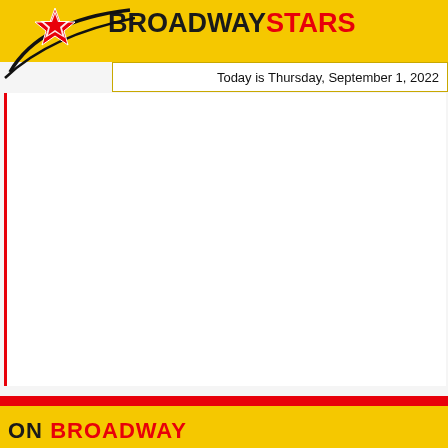[Figure (logo): Broadway Stars logo with red and white star shape and black curved lines on yellow background]
BROADWAYSTARS
Today is Thursday, September 1, 2022
[Figure (other): Large white blank content area with red left border]
ON BROADWAY